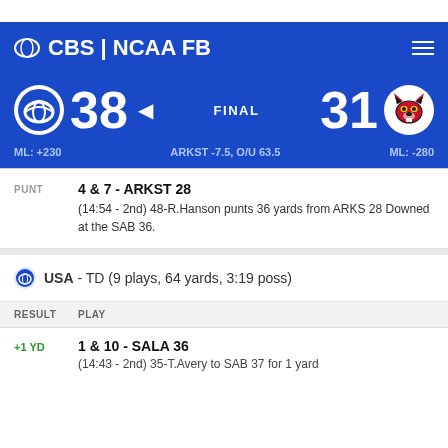CBS | NCAA FB
38 FINAL 31
ML: +230   ARKST -7.5, O/U 63.5   ML: -280
PUNT   4 & 7 - ARKST 28   (14:54 - 2nd) 48-R.Hanson punts 36 yards from ARKS 28 Downed at the SAB 36.
USA - TD (9 plays, 64 yards, 3:19 poss)
| RESULT | PLAY |
| --- | --- |
| +1 YD | 1 & 10 - SALA 36 | (14:43 - 2nd) 35-T.Avery to SAB 37 for 1 yard |